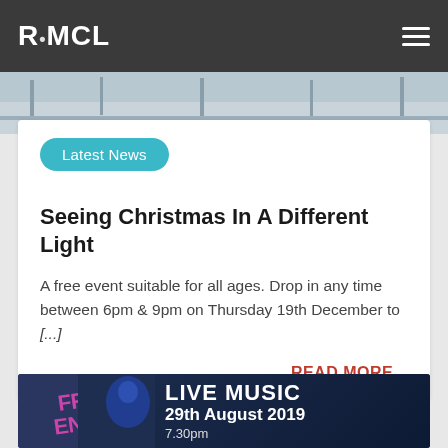R•MCL
[Figure (photo): Top portion of an indoor venue image, showing part of a stage or room with equipment]
Latest News
Seeing Christmas In A Different Light
A free event suitable for all ages. Drop in any time between 6pm & 9pm on Thursday 19th December to [...]
READ MORE...
[Figure (photo): Promotional banner for a live music event with FREE ENTRY on 29th August 2019 at 7.30pm, showing a performer on stage]